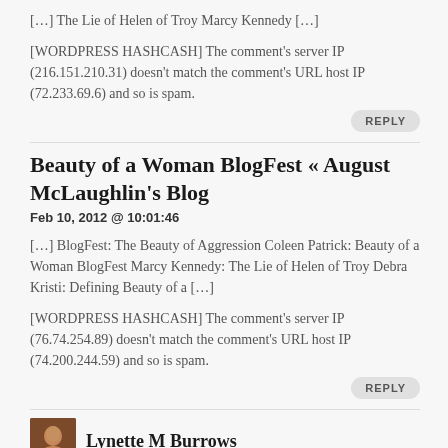[…] The Lie of Helen of Troy Marcy Kennedy […]
[WORDPRESS HASHCASH] The comment's server IP (216.151.210.31) doesn't match the comment's URL host IP (72.233.69.6) and so is spam.
REPLY
Beauty of a Woman BlogFest « August McLaughlin's Blog
Feb 10, 2012 @ 10:01:46
[…] BlogFest: The Beauty of Aggression Coleen Patrick: Beauty of a Woman BlogFest Marcy Kennedy: The Lie of Helen of Troy Debra Kristi: Defining Beauty of a […]
[WORDPRESS HASHCASH] The comment's server IP (76.74.254.89) doesn't match the comment's URL host IP (74.200.244.59) and so is spam.
REPLY
Lynette M Burrows